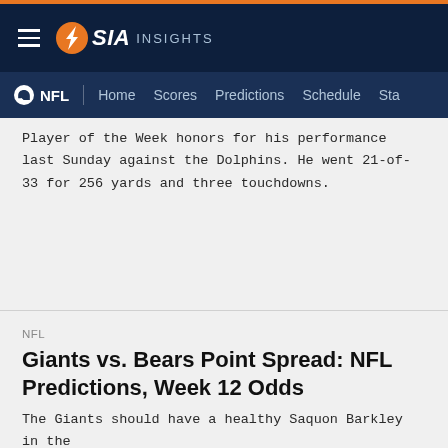SIA INSIGHTS
NFL | Home Scores Predictions Schedule Sta
Player of the Week honors for his performance last Sunday against the Dolphins. He went 21-of-33 for 256 yards and three touchdowns.
NFL
Giants vs. Bears Point Spread: NFL Predictions, Week 12 Odds
The Giants should have a healthy Saquon Barkley in the